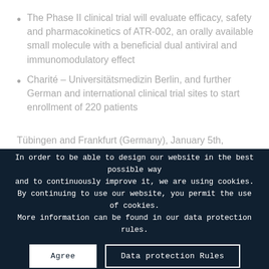The Phase II clinical trial will evaluate efficacy, safety and pharmacokinetics of ATR-002, an orally available small molecule with a beneficial dual antiviral and immunomodulatory effect
Charité – Universitätsmedizin Berlin, and further German and international clinical trial sites to start enrollment of 220 patients
Tübingen and Frankfurt (Germany), January 5th, 2021 – Atriva Therapeutics GmbH, a biopharmaceutical
In order to be able to design our website in the best possible way and to continuously improve it, we are using cookies. By continuing to use our website, you permit the use of cookies. More information can be found in our data protection rules.